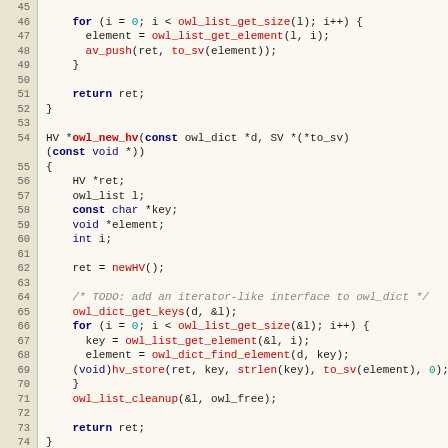[Figure (screenshot): Source code listing lines 45-75 showing C functions owl_new_hv with syntax highlighting. Line numbers in beige sidebar, code on light cream background. Keywords in bold dark blue, function names in red, numbers in teal, comments in gray italic.]